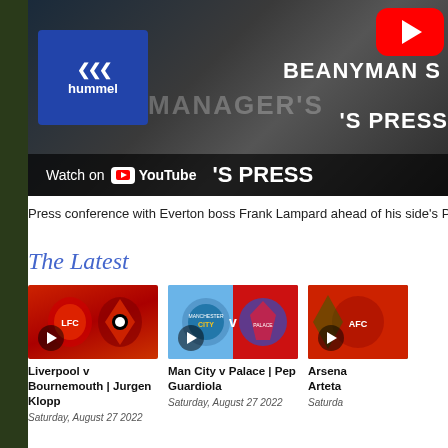[Figure (screenshot): YouTube video thumbnail showing Everton manager Frank Lampard press conference. Features Hummel logo (blue box), text 'BEANYMAN S' and 'R'S PRESS' in white bold font, 'Watch on YouTube' bar at bottom, and YouTube play button in top right corner.]
Press conference with Everton boss Frank Lampard ahead of his side's Prem
The Latest
[Figure (screenshot): Video thumbnail showing Liverpool v Bournemouth club badge matchup on red background with play button]
Liverpool v Bournemouth | Jurgen Klopp
Saturday, August 27 2022
[Figure (screenshot): Video thumbnail showing Man City v Crystal Palace club badge matchup on blue and red split background with play button]
Man City v Palace | Pep Guardiola
Saturday, August 27 2022
[Figure (screenshot): Video thumbnail showing Arsenal match on green and red background with play button]
Arsena Arteta
Saturda